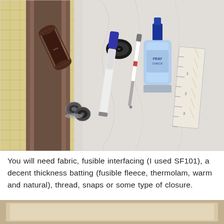[Figure (photo): Overhead photo of sewing/crafting supplies laid out on a cutting mat: dark thread spool, bobbin, fabric glue bottle with blue cap, marker pen, seam ripper, clear ruler, metal snaps, brown fabric strip, and light pink/white fabric]
You will need fabric, fusible interfacing (I used SF101), a decent thickness batting (fusible fleece, thermolam, warm and natural), thread, snaps or some type of closure.
[Figure (photo): Partial view of a second photo at the bottom of the page, showing what appears to be fabric or sewing materials on a surface]